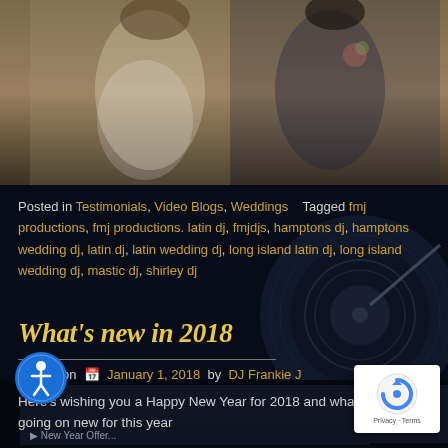[Figure (photo): Wedding couple photo — bride in white lace halter gown, groom in navy tuxedo with boutonniere, against warm beige background]
Posted in Testimonials, Video Blogs, Weddings   Tagged fmj productions, fmj productions. latin dj, fmjdjs, hamptons dj, hamptons wedding dj, latin dj, latin wedding dj, long island latin dj, long island wedding dj, mastic dj, shirley dj
What's new in 2018
Posted on  January 1, 2018  by  DJ Frankie J
Here's wishing you a Happy New Year for 2018 and what we have going on new for this year
[Figure (screenshot): Dark background with DJ turntable/vinyl record imagery and partially visible video thumbnail at bottom]
[Figure (other): reCAPTCHA privacy badge — white box with reCAPTCHA logo, text Privacy · Terms]
[Figure (other): Accessibility icon — blue circle with white person/wheelchair symbol]